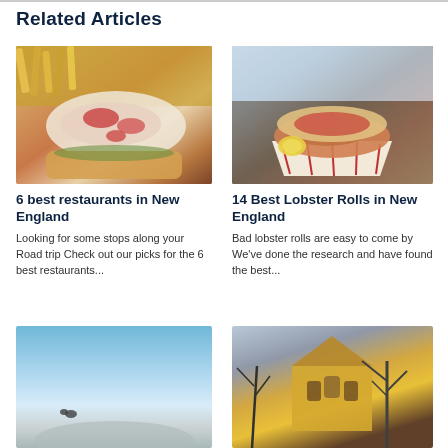Related Articles
[Figure (photo): Close-up photo of a lobster roll sandwich with fries on a plate]
[Figure (photo): Photo of a lobster roll in a paper tray on a dark surface]
6 best restaurants in New England
Looking for some stops along your Road trip  Check out our picks for the 6 best restaurants...
14 Best Lobster Rolls in New England
Bad lobster rolls are easy to come by  We've done the research and have found the best...
[Figure (photo): Outdoor scenic photo with blue sky and misty landscape]
[Figure (photo): Photo of a yellow church building with bare trees against a grey sky]